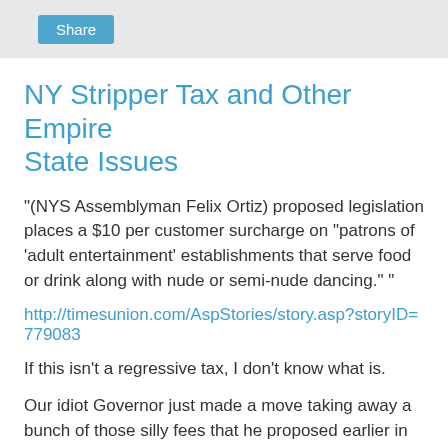Share
NY Stripper Tax and Other Empire State Issues
"(NYS Assemblyman Felix Ortiz) proposed legislation places a $10 per customer surcharge on "patrons of 'adult entertainment' establishments that serve food or drink along with nude or semi-nude dancing." "
http://timesunion.com/AspStories/story.asp?storyID=779083
If this isn't a regressive tax, I don't know what is.
Our idiot Governor just made a move taking away a bunch of those silly fees that he proposed earlier in the budget process- another bunch of regressive taxes.
http://www.whec.com/news/stories/S827944.shtml?cat=566